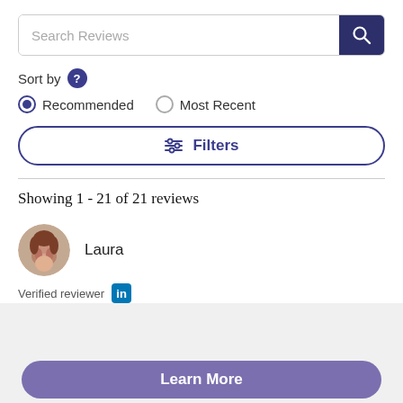Search Reviews
Sort by
Recommended   Most Recent
Filters
Showing 1 - 21 of 21 reviews
Laura
Verified reviewer
Learn More